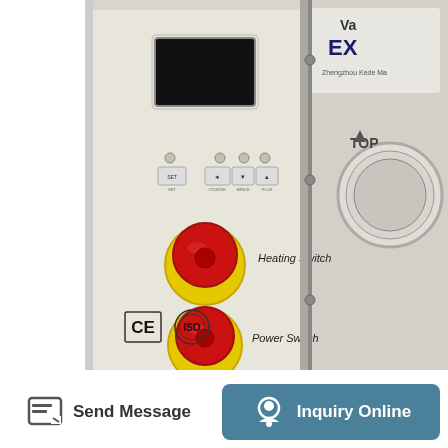[Figure (photo): Close-up photo of an industrial vacuum oven control panel. The panel is cream/beige colored metal. It shows a black digital display screen at the top, several small indicator lights and control buttons below the display, two large emergency-stop style push buttons: upper one labeled 'Heating Switch' and lower one labeled 'Power Switch'. Both buttons have a yellow base with a red mushroom-head. CE and ISO certification logos are visible in the lower-left of the panel. Partially visible on the right side is another panel section with a circular gauge labeled 'TOP' with an arrow pointing up.]
Send Message
Inquiry Online